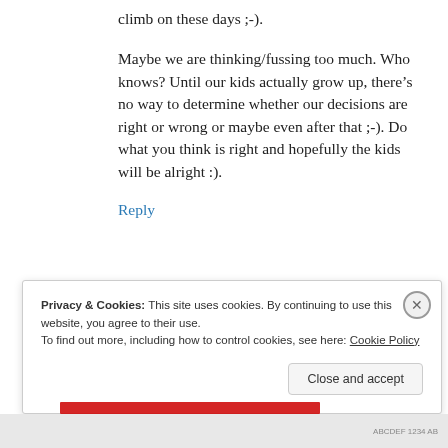climb on these days ;-).
Maybe we are thinking/fussing too much. Who knows? Until our kids actually grow up, there’s no way to determine whether our decisions are right or wrong or maybe even after that ;-). Do what you think is right and hopefully the kids will be alright :).
Reply
Privacy & Cookies: This site uses cookies. By continuing to use this website, you agree to their use.
To find out more, including how to control cookies, see here: Cookie Policy
Close and accept